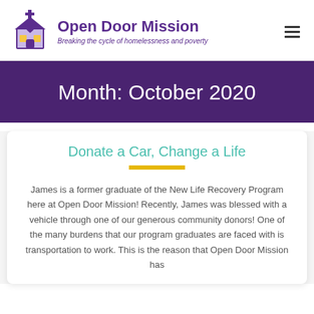Open Door Mission — Breaking the cycle of homelessness and poverty
Month: October 2020
Donate a Car, Change a Life
James is a former graduate of the New Life Recovery Program here at Open Door Mission! Recently, James was blessed with a vehicle through one of our generous community donors! One of the many burdens that our program graduates are faced with is transportation to work. This is the reason that Open Door Mission has